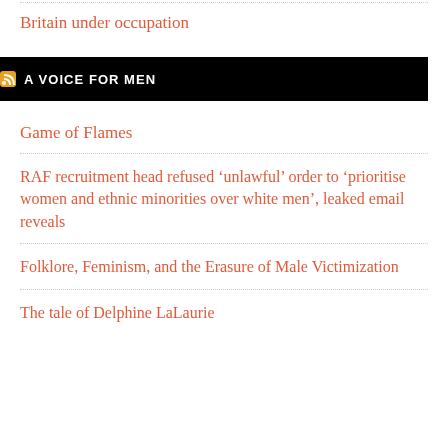Britain under occupation
[Figure (other): Black banner with RSS icon and text 'A VOICE FOR MEN']
Game of Flames
RAF recruitment head refused ‘unlawful’ order to ‘prioritise women and ethnic minorities over white men’, leaked email reveals
Folklore, Feminism, and the Erasure of Male Victimization
The tale of Delphine LaLaurie